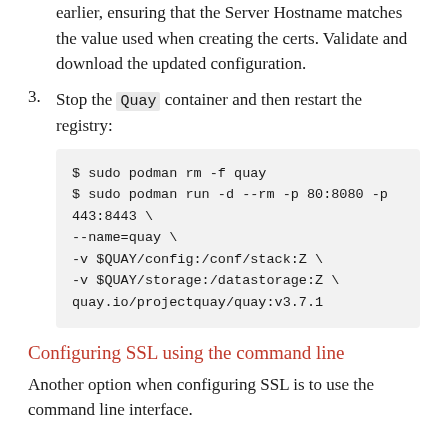earlier, ensuring that the Server Hostname matches the value used when creating the certs. Validate and download the updated configuration.
Stop the Quay container and then restart the registry:
$ sudo podman rm -f quay
$ sudo podman run -d --rm -p 80:8080 -p 443:8443 \
--name=quay \
-v $QUAY/config:/conf/stack:Z \
-v $QUAY/storage:/datastorage:Z \
quay.io/projectquay/quay:v3.7.1
Configuring SSL using the command line
Another option when configuring SSL is to use the command line interface.